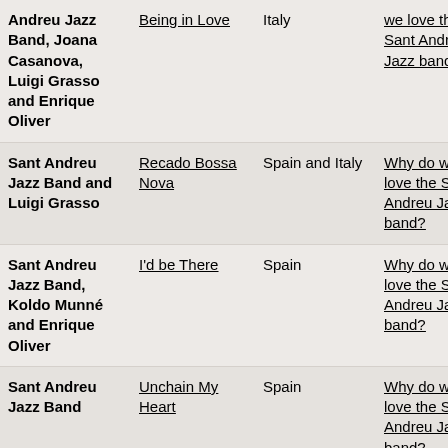| Artist | Song | Country | Album | Year |
| --- | --- | --- | --- | --- |
| Sant Andreu Jazz Band, Joana Casanova, Luigi Grasso and Enrique Oliver | Being in Love | Italy | Why do we love the Sant Andreu Jazz band? | 2020-0 |
| Sant Andreu Jazz Band and Luigi Grasso | Recado Bossa Nova | Spain and Italy | Why do we love the Sant Andreu Jazz band? | 2020-0 |
| Sant Andreu Jazz Band, Koldo Munné and Enrique Oliver | I'd be There | Spain | Why do we love the Sant Andreu Jazz band? | 2020-0 |
| Sant Andreu Jazz Band | Unchain My Heart | Spain | Why do we love the Sant Andreu Jazz band? | 2020-0 |